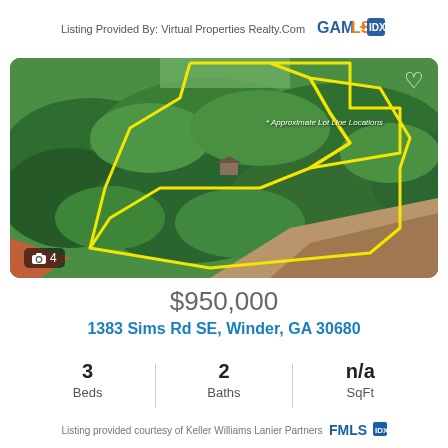Listing Provided By: Virtual Properties Realty.Com
[Figure (photo): Aerial drone photo of a wooded land parcel with yellow lot line boundary markers overlaid. The property shows dense forest, a small structure visible, and an adjacent agricultural field.]
$950,000
1383 Sims Rd SE, Winder, GA 30680
3 Beds  2 Baths  n/a SqFt
Listing provided courtesy of Keller Williams Lanier Partners